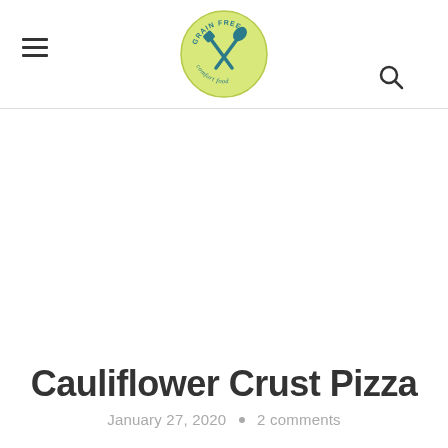Grain Free Comfort Food — logo
Cauliflower Crust Pizza
January 27, 2020 • 2 comments